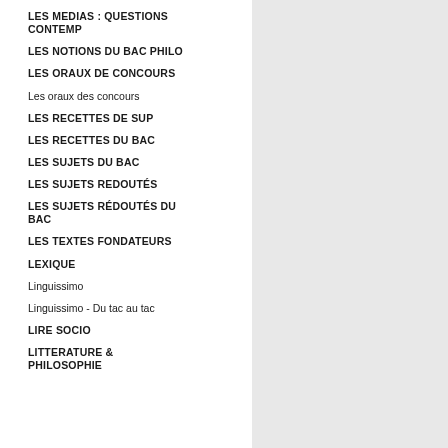LES MEDIAS : QUESTIONS CONTEMP
LES NOTIONS DU BAC PHILO
LES ORAUX DE CONCOURS
Les oraux des concours
LES RECETTES DE SUP
LES RECETTES DU BAC
LES SUJETS DU BAC
LES SUJETS REDOUTÉS
LES SUJETS RÉDOUTÉS DU BAC
LES TEXTES FONDATEURS
LEXIQUE
Linguissimo
Linguissimo - Du tac au tac
LIRE SOCIO
LITTERATURE & PHILOSOPHIE